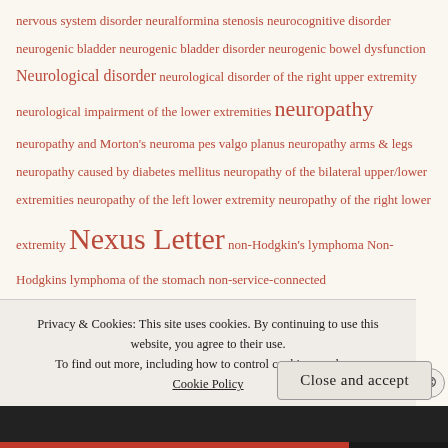nervous system disorder neuralformina stenosis neurocognitive disorder neurogenic bladder neurogenic bladder disorder neurogenic bowel dysfunction Neurological disorder neurological disorder of the right upper extremity neurological impairment of the lower extremities neuropathy neuropathy and Morton's neuroma pes valgo planus neuropathy arms & legs neuropathy caused by diabetes mellitus neuropathy of the bilateral upper/lower extremities neuropathy of the left lower extremity neuropathy of the right lower extremity Nexus Letter non-Hodgkin's lymphoma Non-Hodgkins lymphoma of the stomach non-service-connected
non-service-connected
Privacy & Cookies: This site uses cookies. By continuing to use this website, you agree to their use. To find out more, including how to control cookies, see here: Cookie Policy